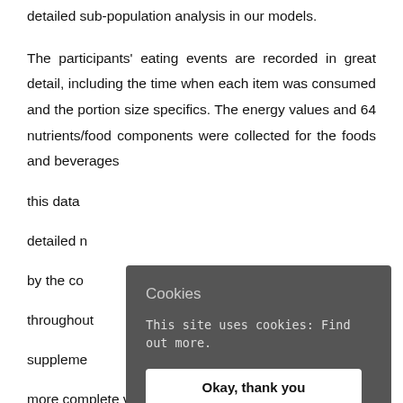detailed sub-population analysis in our models.
The participants' eating events are recorded in great detail, including the time when each item was consumed and the portion size specifics. The energy values and 64 nutrients/food components were collected for the foods and beverages... this data... detailed n... by the co... throughout... suppleme... more complete view of the total diet.
Cookies
This site uses cookies: Find out more.
Okay, thank you